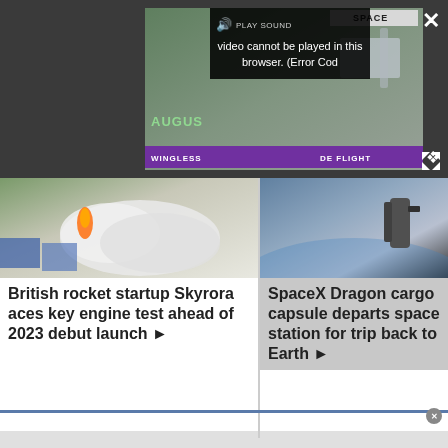[Figure (screenshot): Video player with dark background showing a partially visible video thumbnail. A tooltip overlay reads 'PLAY SOUND Video cannot be played in this browser. (Error Cod'. An X close button is visible top right. Bottom shows WINGLESS and FLIGHT text on a purple bar. AUGUST text visible.]
[Figure (photo): Rocket engine test fire with large smoke cloud, blue shipping containers in background, British rocket startup Skyrora.]
British rocket startup Skyrora aces key engine test ahead of 2023 debut launch ▶
[Figure (photo): SpaceX Dragon cargo capsule in space near space station, dark space background.]
SpaceX Dragon cargo capsule departs space station for trip back to Earth ▶